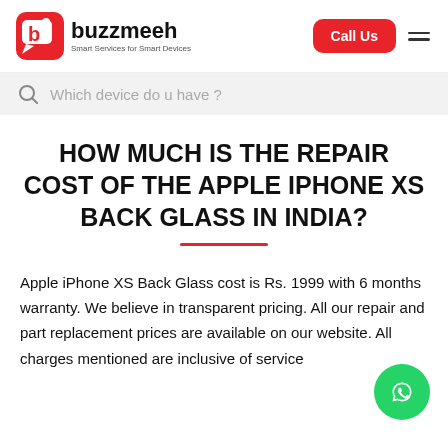buzzmeeh - Smart Services for Smart Devices | Call Us
Which device do u have ?
HOW MUCH IS THE REPAIR COST OF THE APPLE IPHONE XS BACK GLASS IN INDIA?
Apple iPhone XS Back Glass cost is Rs. 1999 with 6 months warranty. We believe in transparent pricing. All our repair and part replacement prices are available on our website. All charges mentioned are inclusive of service